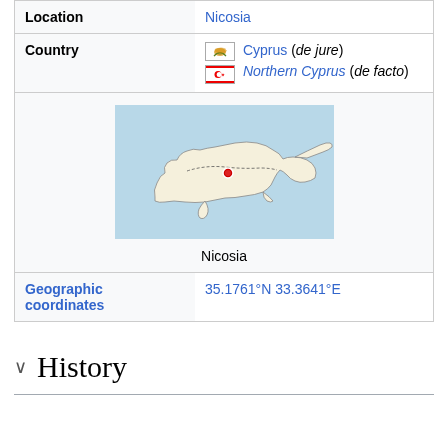| Location | Nicosia |
| Country | Cyprus (de jure)
Northern Cyprus (de facto) |
| [map of Cyprus with Nicosia marked] | Nicosia |
| Geographic coordinates | 35.1761°N 33.3641°E |
History